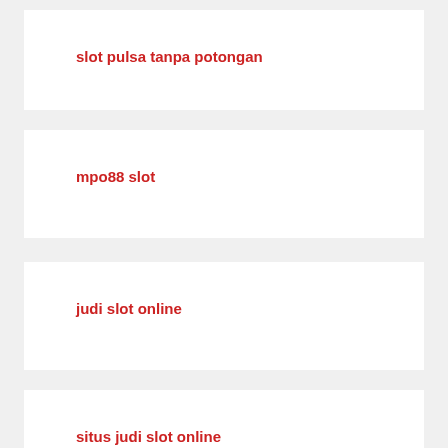slot pulsa tanpa potongan
mpo88 slot
judi slot online
situs judi slot online